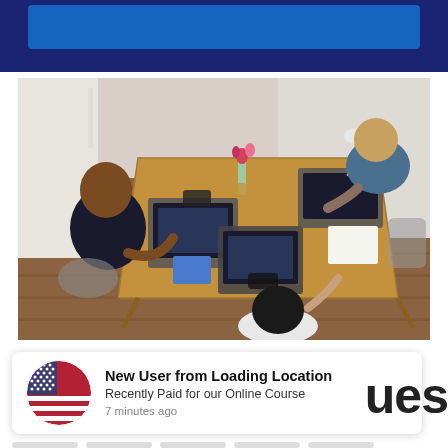[Figure (other): Dark blue banner/header bar at top of page with lighter blue inner rectangle]
[Figure (photo): Overhead view of three women working on laptops around a wooden table in a bright office/coworking space, with a flower vase and lamp on the table]
New User from Loading Location
Recently Paid for our Online Course
7 minutes ago
ues